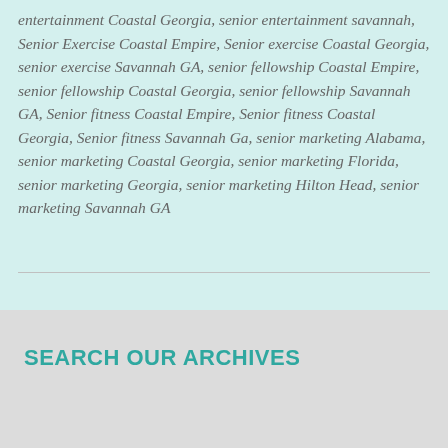entertainment Coastal Georgia, senior entertainment savannah, Senior Exercise Coastal Empire, Senior exercise Coastal Georgia, senior exercise Savannah GA, senior fellowship Coastal Empire, senior fellowship Coastal Georgia, senior fellowship Savannah GA, Senior fitness Coastal Empire, Senior fitness Coastal Georgia, Senior fitness Savannah Ga, senior marketing Alabama, senior marketing Coastal Georgia, senior marketing Florida, senior marketing Georgia, senior marketing Hilton Head, senior marketing Savannah GA
SEARCH OUR ARCHIVES